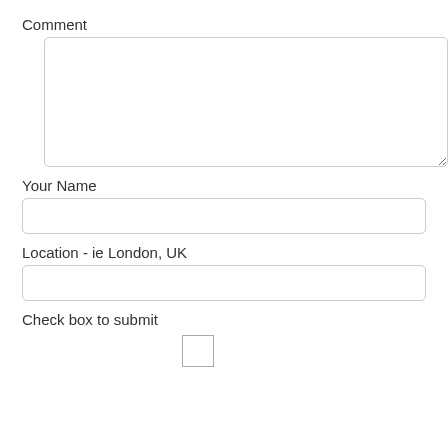Comment
[Figure (other): Large empty textarea for comment input]
Your Name
[Figure (other): Single-line text input for name]
Location - ie London, UK
[Figure (other): Single-line text input for location]
Check box to submit
[Figure (other): Checkbox to submit the form]